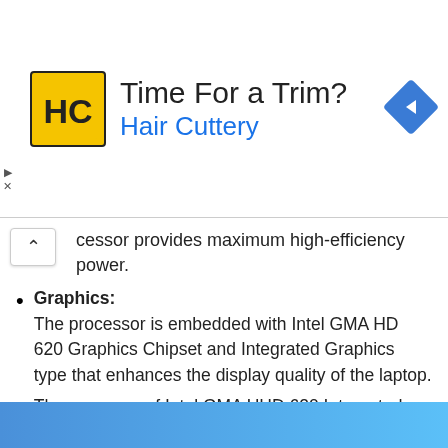[Figure (other): Advertisement banner for Hair Cuttery with logo, tagline 'Time For a Trim?' and navigation icon]
…cessor provides maximum high-efficiency power.
Graphics: The processor is embedded with Intel GMA HD 620 Graphics Chipset and Integrated Graphics type that enhances the display quality of the laptop.
The presence of Intel GMA UHD 620 Integrated graphics GPU enhances the graphics and display quality at its optimum level.
It meets both the business need and home entertainment and accomplishes faster and better performance than the previous generation.